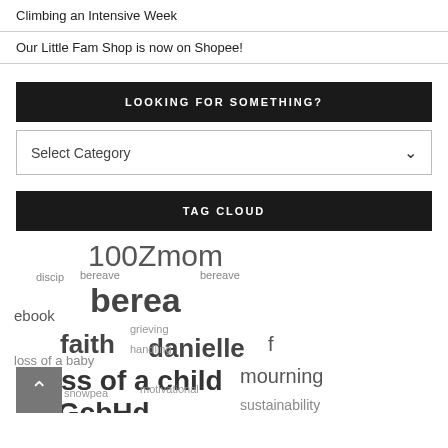Climbing an Intensive Week
Our Little Fam Shop is now on Shopee!
LOOKING FOR SOMETHING?
Select Category
TAG CLOUD
[Figure (infographic): Tag cloud containing various blog tags: 100Zmom, discipline, bereave, berea, ebook, faith, danielle, grieving, handling, of, loss of a baby, loss of a child, mourning, snowpea, motivational, wGcbHd, sustainability]